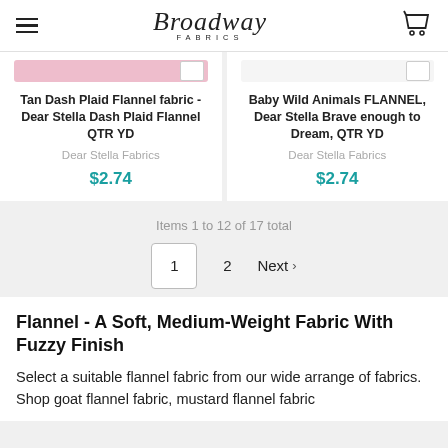Broadway Fabrics
Tan Dash Plaid Flannel fabric - Dear Stella Dash Plaid Flannel QTR YD | Dear Stella Fabrics | $2.74
Baby Wild Animals FLANNEL, Dear Stella Brave enough to Dream, QTR YD | Dear Stella Fabrics | $2.74
Items 1 to 12 of 17 total
1  2  Next
Flannel -  A Soft, Medium-Weight Fabric With Fuzzy Finish
Select a suitable flannel fabric from our wide arrange of fabrics. Shop goat flannel fabric, mustard flannel fabric